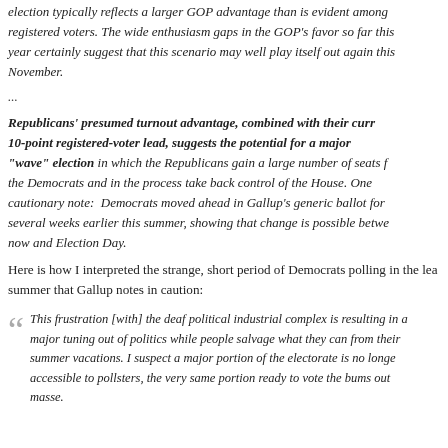election typically reflects a larger GOP advantage than is evident among registered voters. The wide enthusiasm gaps in the GOP's favor so far this year certainly suggest that this scenario may well play itself out again this November.
...
Republicans' presumed turnout advantage, combined with their current 10-point registered-voter lead, suggests the potential for a major "wave" election in which the Republicans gain a large number of seats from the Democrats and in the process take back control of the House. One cautionary note: Democrats moved ahead in Gallup's generic ballot for several weeks earlier this summer, showing that change is possible between now and Election Day.
Here is how I interpreted the strange, short period of Democrats polling in the lead this summer that Gallup notes in caution:
This frustration [with] the deaf political industrial complex is resulting in a major tuning out of politics while people salvage what they can from their summer vacations. I suspect a major portion of the electorate is no longer accessible to pollsters, the very same portion ready to vote the bums out en masse.